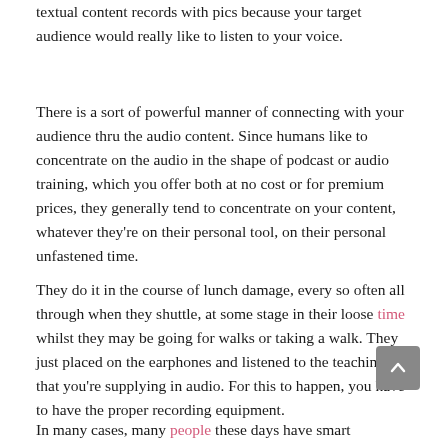textual content records with pics because your target audience would really like to listen to your voice.
There is a sort of powerful manner of connecting with your audience thru the audio content. Since humans like to concentrate on the audio in the shape of podcast or audio training, which you offer both at no cost or for premium prices, they generally tend to concentrate on your content, whatever they're on their personal tool, on their personal unfastened time.
They do it in the course of lunch damage, every so often all through when they shuttle, at some stage in their loose time whilst they may be going for walks or taking a walk. They just placed on the earphones and listened to the teachings that you're supplying in audio. For this to happen, you have to have the proper recording equipment.
In many cases, many people these days have smart telephones, which